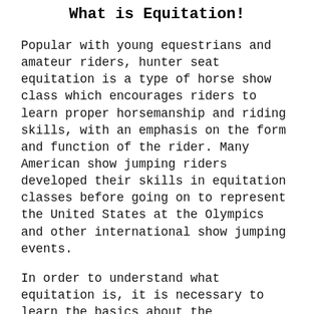What is Equitation!
Popular with young equestrians and amateur riders, hunter seat equitation is a type of horse show class which encourages riders to learn proper horsemanship and riding skills, with an emphasis on the form and function of the rider. Many American show jumping riders developed their skills in equitation classes before going on to represent the United States at the Olympics and other international show jumping events.
In order to understand what equitation is, it is necessary to learn the basics about the hunter/jumper sport. This article explains the basics and is aimed at the general public who might like to learn more...